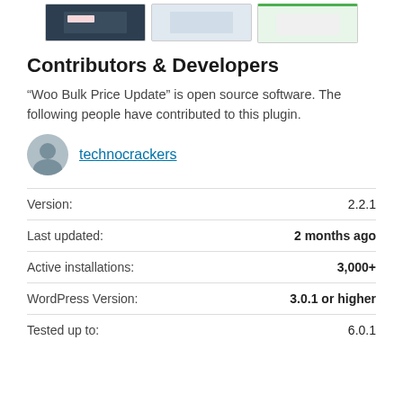[Figure (screenshot): Three screenshot thumbnails of the Woo Bulk Price Update plugin interface]
Contributors & Developers
“Woo Bulk Price Update” is open source software. The following people have contributed to this plugin.
technocrackers
| Label | Value |
| --- | --- |
| Version: | 2.2.1 |
| Last updated: | 2 months ago |
| Active installations: | 3,000+ |
| WordPress Version: | 3.0.1 or higher |
| Tested up to: | 6.0.1 |